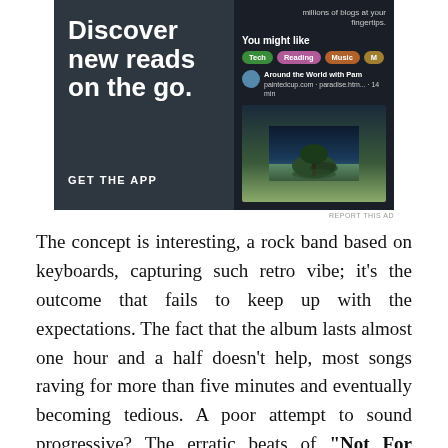[Figure (screenshot): App advertisement showing 'Discover new reads on the go.' text on dark background with phone UI showing blog recommendations and a tree landscape photo. 'GET THE APP' button visible.]
REPORT THIS AD
The concept is interesting, a rock band based on keyboards, capturing such retro vibe; it's the outcome that fails to keep up with the expectations. The fact that the album lasts almost one hour and a half doesn't help, most songs raving for more than five minutes and eventually becoming tedious. A poor attempt to sound progressive? The erratic beats of “Not For Nothing” could indicate so, but such dissonance is more annoying than ingenious. The same with “Blue Rondo”, one of the few “short” tracks (4:02), but being instrumental, the over shifting